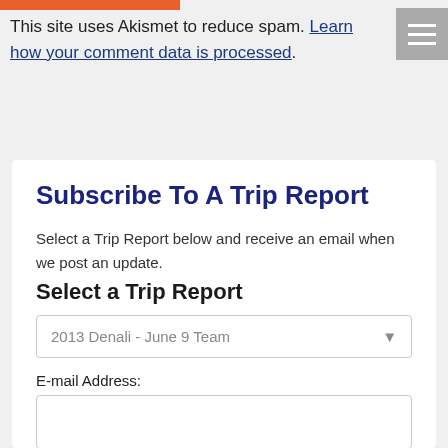This site uses Akismet to reduce spam. Learn how your comment data is processed.
Subscribe To A Trip Report
Select a Trip Report below and receive an email when we post an update.
Select a Trip Report
2013 Denali - June 9 Team
E-mail Address:
Unsubscribe me